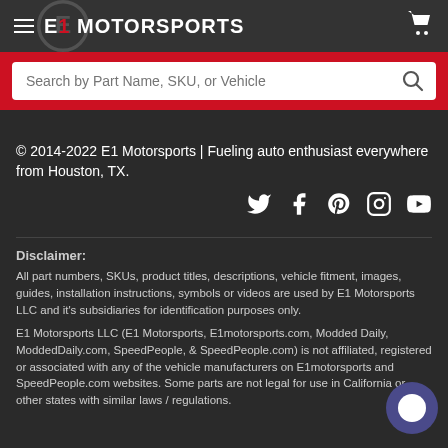[Figure (logo): E1 Motorsports logo with hamburger menu icon on dark header bar with cart icon on right]
[Figure (screenshot): Search bar with placeholder text 'Search by Part Name, SKU, or Vehicle' on a red background band]
© 2014-2022 E1 Motorsports | Fueling auto enthusiast everywhere from Houston, TX.
[Figure (infographic): Social media icons: Twitter, Facebook, Pinterest, Instagram, YouTube]
Disclaimer:
All part numbers, SKUs, product titles, descriptions, vehicle fitment, images, guides, installation instructions, symbols or videos are used by E1 Motorsports LLC and it's subsidiaries for identification purposes only.
E1 Motorsports LLC (E1 Motorsports, E1motorsports.com, Modded Daily, ModdedDaily.com, SpeedPeople, & SpeedPeople.com) is not affiliated, registered or associated with any of the vehicle manufacturers on E1motorsports and SpeedPeople.com websites. Some parts are not legal for use in California or other states with similar laws / regulations.